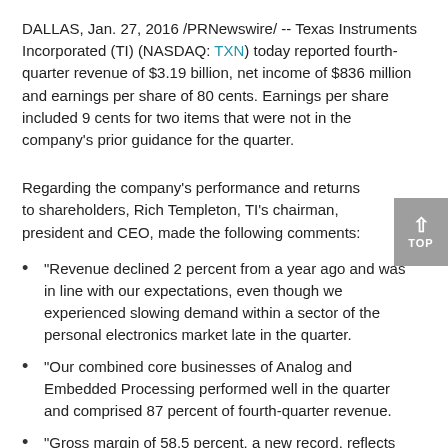DALLAS, Jan. 27, 2016 /PRNewswire/ -- Texas Instruments Incorporated (TI) (NASDAQ: TXN) today reported fourth-quarter revenue of $3.19 billion, net income of $836 million and earnings per share of 80 cents. Earnings per share included 9 cents for two items that were not in the company's prior guidance for the quarter.
Regarding the company's performance and returns to shareholders, Rich Templeton, TI's chairman, president and CEO, made the following comments:
"Revenue declined 2 percent from a year ago and was in line with our expectations, even though we experienced slowing demand within a sector of the personal electronics market late in the quarter.
"Our combined core businesses of Analog and Embedded Processing performed well in the quarter and comprised 87 percent of fourth-quarter revenue.
"Gross margin of 58.5 percent, a new record, reflects the quality of our product portfolio as well as the efficiency of our manufacturing strategy, including the benefit of 300-